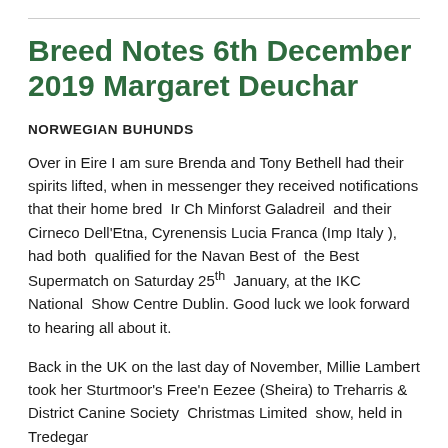Breed Notes 6th December 2019 Margaret Deuchar
NORWEGIAN BUHUNDS
Over in Eire I am sure Brenda and Tony Bethell had their spirits lifted, when in messenger they received notifications that their home bred Ir Ch Minforst Galadreil and their Cirneco Dell'Etna, Cyrenensis Lucia Franca (Imp Italy), had both qualified for the Navan Best of the Best Supermatch on Saturday 25th January, at the IKC National Show Centre Dublin. Good luck we look forward to hearing all about it.
Back in the UK on the last day of November, Millie Lambert took her Sturtmoor's Free'n Eezee (Sheira) to Treharris & District Canine Society Christmas Limited show, held in Tredegar